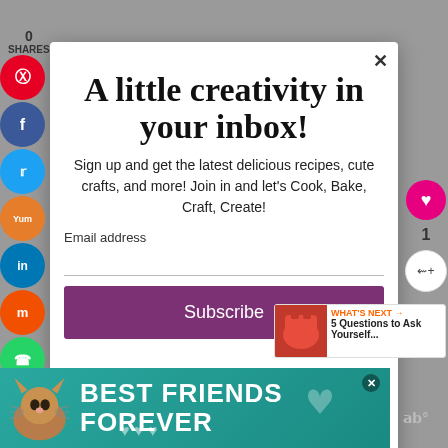0
SHARES
A little creativity in your inbox!
Sign up and get the latest delicious recipes, cute crafts, and more! Join in and let's Cook, Bake, Craft, Create!
Email address
Subscribe
WHAT'S NEXT → 5 Questions to Ask Yourself...
[Figure (infographic): BEST FRIENDS FOREVER ad banner with cat illustration and teal background with heart decorations]